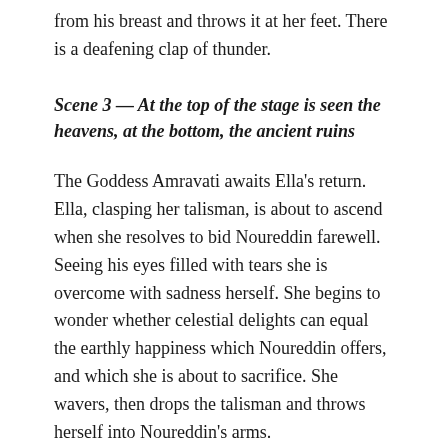from his breast and throws it at her feet. There is a deafening clap of thunder.
Scene 3 — At the top of the stage is seen the heavens, at the bottom, the ancient ruins
The Goddess Amravati awaits Ella's return. Ella, clasping her talisman, is about to ascend when she resolves to bid Noureddin farewell. Seeing his eyes filled with tears she is overcome with sadness herself. She begins to wonder whether celestial delights can equal the earthly happiness which Noureddin offers, and which she is about to sacrifice. She wavers, then drops the talisman and throws herself into Noureddin's arms.